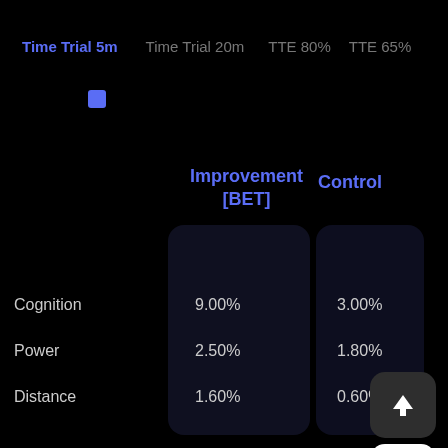Time Trial 5m  Time Trial 20m  TTE 80%  TTE 65%
|  | Improvement [BET] | Control |
| --- | --- | --- |
| Cognition | 9.00% | 3.00% |
| Power | 2.50% | 1.80% |
| Distance | 1.60% | 0.60% |